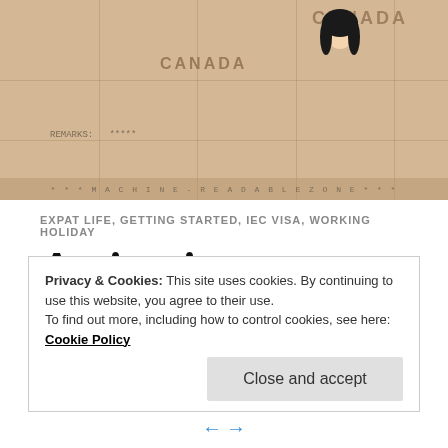[Figure (photo): A folded paper map of Canada photographed on a wooden surface, showing 'CANADA' text, map details, and a small illustrated figure with dark hair in the top right corner. 'REMARKS:' and asterisks visible near bottom left.]
EXPAT LIFE, GETTING STARTED, IEC VISA, WORKING HOLIDAY
Activating our Canadian Work
Privacy & Cookies: This site uses cookies. By continuing to use this website, you agree to their use.
To find out more, including how to control cookies, see here: Cookie Policy
Close and accept